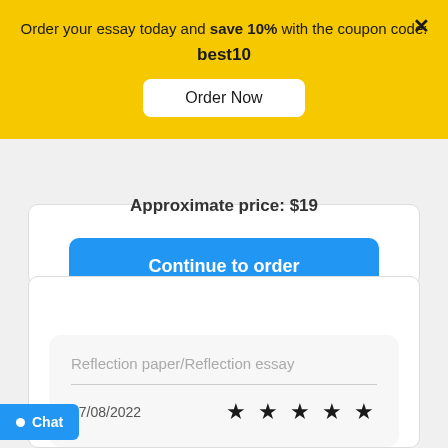Order your essay today and save 10% with the coupon code: best10
[Figure (screenshot): Order Now button on yellow promotional banner]
Approximate price: $19
Continue to order
Reflection paper/Reflection essay
27/08/2022
★ ★ ★ ★ ★